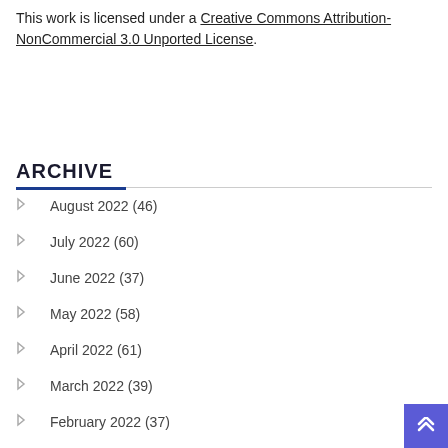This work is licensed under a Creative Commons Attribution-NonCommercial 3.0 Unported License.
ARCHIVE
August 2022 (46)
July 2022 (60)
June 2022 (37)
May 2022 (58)
April 2022 (61)
March 2022 (39)
February 2022 (37)